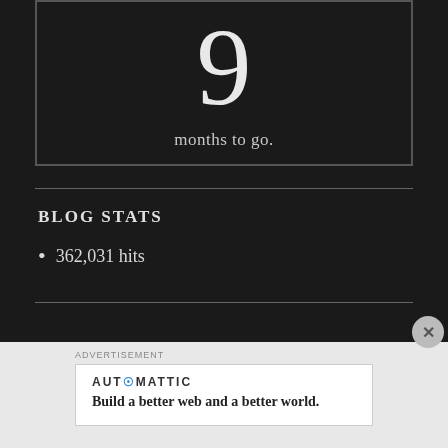9 months to go.
BLOG STATS
362,031 hits
ADVERTISEMENT
AUT@MATTIC
Build a better web and a better world.